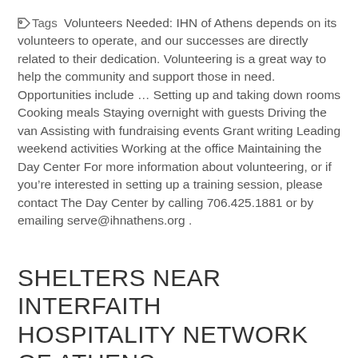Tags Volunteers Needed: IHN of Athens depends on its volunteers to operate, and our successes are directly related to their dedication. Volunteering is a great way to help the community and support those in need. Opportunities include ... Setting up and taking down rooms Cooking meals Staying overnight with guests Driving the van Assisting with fundraising events Grant writing Leading weekend activities Working at the office Maintaining the Day Center For more information about volunteering, or if you're interested in setting up a training session, please contact The Day Center by calling 706.425.1881 or by emailing serve@ihnathens.org .
SHELTERS NEAR INTERFAITH HOSPITALITY NETWORK OF ATHENS